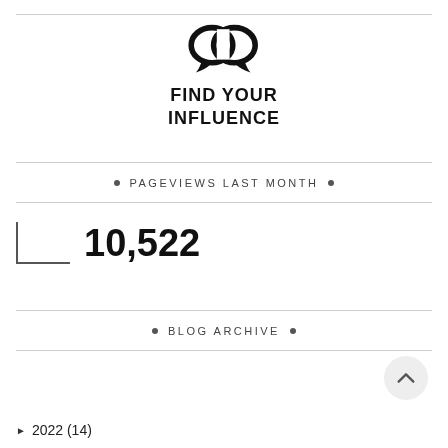[Figure (logo): Find Your Influence logo — two overlapping speech bubbles icon above bold text reading FIND YOUR INFLUENCE]
• PAGEVIEWS LAST MONTH •
10,522
• BLOG ARCHIVE •
► 2022 (14)